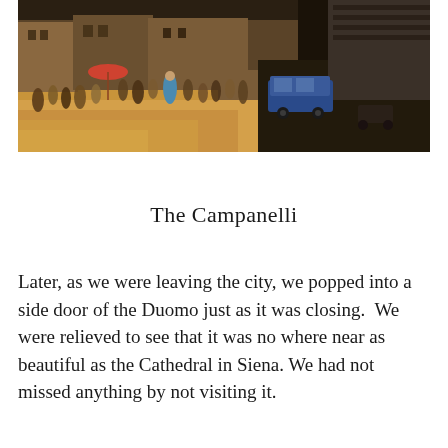[Figure (photo): A photograph of a busy Italian piazza (likely Florence) showing crowds of tourists walking in a sun-drenched square, with historic buildings in the background and a blue police car parked in the center. The image has warm, sun-lit tones on the left and darker shadows on the right.]
The Campanelli
Later, as we were leaving the city, we popped into a side door of the Duomo just as it was closing.  We were relieved to see that it was no where near as beautiful as the Cathedral in Siena. We had not missed anything by not visiting it.